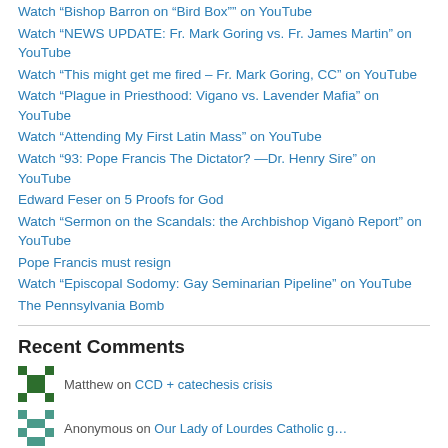Watch “Bishop Barron on “Bird Box”” on YouTube
Watch “NEWS UPDATE: Fr. Mark Goring vs. Fr. James Martin” on YouTube
Watch “This might get me fired – Fr. Mark Goring, CC” on YouTube
Watch “Plague in Priesthood: Vigano vs. Lavender Mafia” on YouTube
Watch “Attending My First Latin Mass” on YouTube
Watch “93: Pope Francis The Dictator? —Dr. Henry Sire” on YouTube
Edward Feser on 5 Proofs for God
Watch “Sermon on the Scandals: the Archbishop Viganò Report” on YouTube
Pope Francis must resign
Watch “Episcopal Sodomy: Gay Seminarian Pipeline” on YouTube
The Pennsylvania Bomb
Recent Comments
Matthew on CCD + catechesis crisis
Anonymous on Our Lady of Lourdes Catholic g…